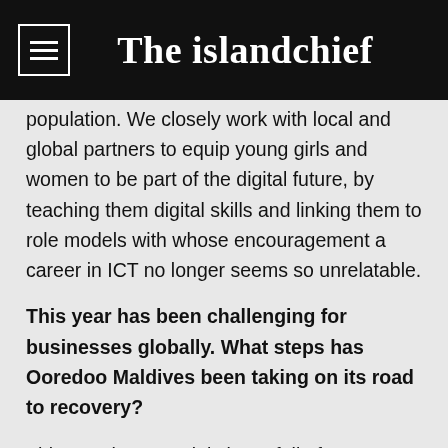The islandchief
population. We closely work with local and global partners to equip young girls and women to be part of the digital future, by teaching them digital skills and linking them to role models with whose encouragement a career in ICT no longer seems so unrelatable.
This year has been challenging for businesses globally. What steps has Ooredoo Maldives been taking on its road to recovery?
This year has certainly been full of challenges, some of which we are still working to overcome. As a community focused company, our biggest priority was to support communities and businesses across Maldives to navigate